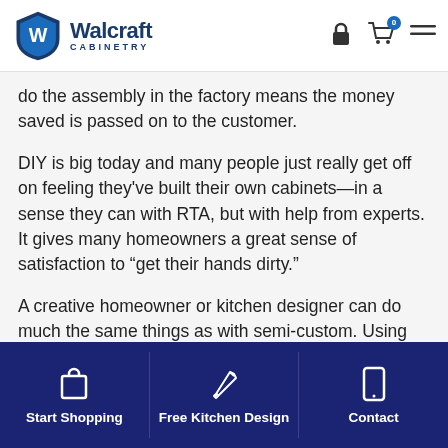[Figure (logo): Walcraft Cabinetry logo with shield emblem and brand name]
do the assembly in the factory means the money saved is passed on to the customer.
DIY is big today and many people just really get off on feeling they've built their own cabinets—in a sense they can with RTA, but with help from experts. It gives many homeowners a great sense of satisfaction to “get their hands dirty.”
A creative homeowner or kitchen designer can do much the same things as with semi-custom. Using various sizes of cabinets, you can put create islands, lighted display spaces, counter
Start Shopping   Free Kitchen Design   Contact